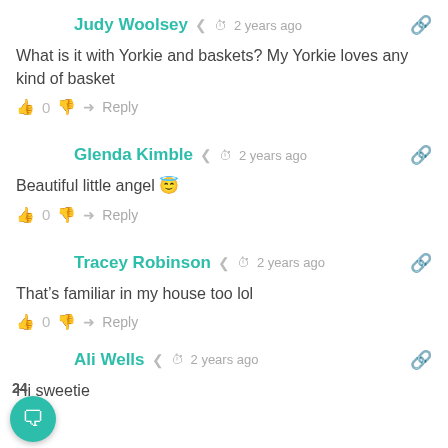Judy Woolsey  2 years ago
What is it with Yorkie and baskets? My Yorkie loves any kind of basket
0  Reply
Glenda Kimble  2 years ago
Beautiful little angel 😇
0  Reply
Tracey Robinson  2 years ago
That's familiar in my house too lol
0  Reply
Ali Wells  2 years ago
Hi sweetie